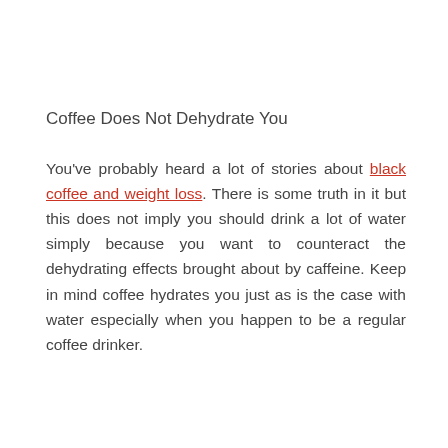Coffee Does Not Dehydrate You
You've probably heard a lot of stories about black coffee and weight loss. There is some truth in it but this does not imply you should drink a lot of water simply because you want to counteract the dehydrating effects brought about by caffeine. Keep in mind coffee hydrates you just as is the case with water especially when you happen to be a regular coffee drinker.